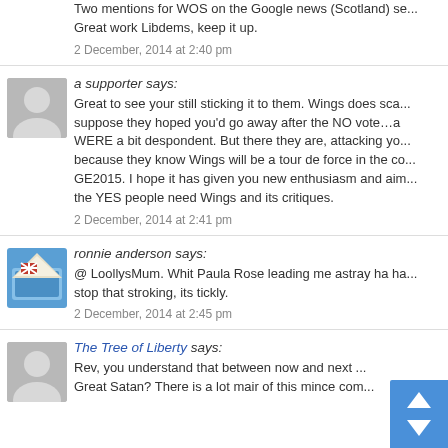Two mentions for WOS on the Google news (Scotland) se... Great work Libdems, keep it up.
2 December, 2014 at 2:40 pm
a supporter says:
Great to see your still sticking it to them. Wings does sca... suppose they hoped you'd go away after the NO vote…a WERE a bit despondent. But there they are, attacking yo... because they know Wings will be a tour de force in the co... GE2015. I hope it has given you new enthusiasm and aim... the YES people need Wings and its critiques.
2 December, 2014 at 2:41 pm
ronnie anderson says:
@ LoollysMum. Whit Paula Rose leading me astray ha ha... stop that stroking, its tickly.
2 December, 2014 at 2:45 pm
The Tree of Liberty says:
Rev, you understand that between now and next ... Great Satan? There is a lot mair of this mince com...